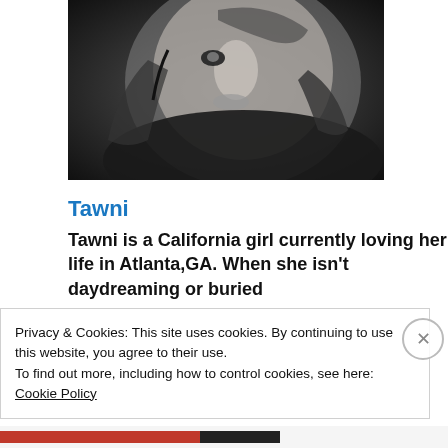[Figure (photo): Black and white close-up portrait photo of a young woman lying on her side, looking at the camera.]
Tawni
Tawni is a California girl currently loving her life in Atlanta,GA. When she isn't daydreaming or buried
Privacy & Cookies: This site uses cookies. By continuing to use this website, you agree to their use.
To find out more, including how to control cookies, see here: Cookie Policy
Close and accept